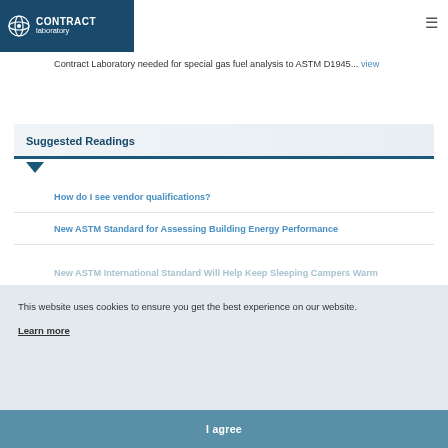CONTRACT laboratory
Contract Laboratory needed for special gas fuel analysis to ASTM D1945... view
Suggested Readings
How do I see vendor qualifications?
New ASTM Standard for Assessing Building Energy Performance
New ASTM International Standard Will Help Keep Sleeping Campers Warm
This website uses cookies to ensure you get the best experience on our website. Learn more
I agree